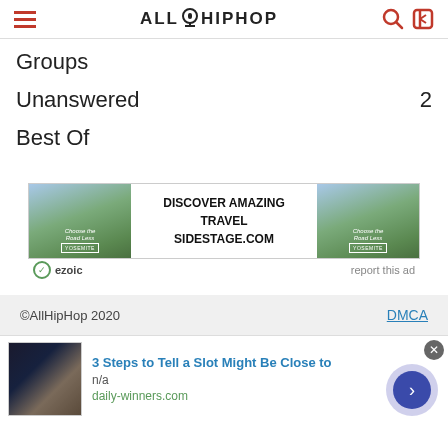AllHipHop
Groups
Unanswered  2
Best Of
[Figure (other): Advertisement banner: DISCOVER AMAZING TRAVEL SIDESTAGE.COM with Yosemite images, ezoic branding and report this ad link]
©AllHipHop 2020   DMCA
3 Steps to Tell a Slot Might Be Close to
n/a
daily-winners.com